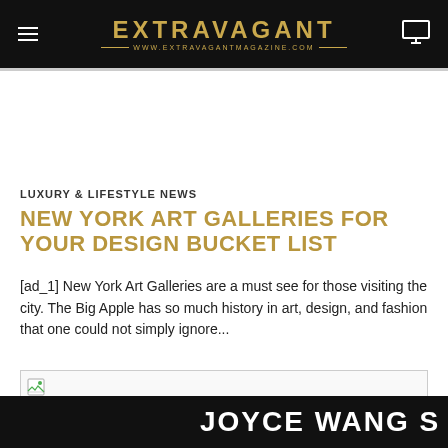EXTRAVAGANT — WWW.EXTRAVAGANTMAGAZINE.COM
LUXURY & LIFESTYLE NEWS
NEW YORK ART GALLERIES FOR YOUR DESIGN BUCKET LIST
[ad_1] New York Art Galleries are a must see for those visiting the city. The Big Apple has so much history in art, design, and fashion that one could not simply ignore...
[Figure (other): Broken image placeholder — a small image icon in a bordered box]
JOYCE WANG S